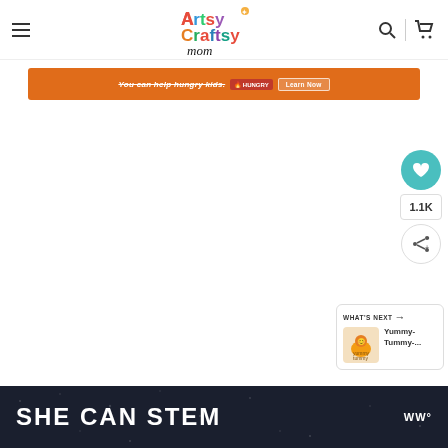Artsy Craftsy Mom
[Figure (screenshot): Orange advertisement banner with text 'You can help hungry kids.' with a red HUNGRY badge and a 'Learn Now' button]
[Figure (infographic): White content area with social sidebar showing heart/favorite button, 1.1K count, and share button; also a What's Next card showing Yummy-Tummy- content]
[Figure (screenshot): Dark navy bottom banner with large white bold text 'SHE CAN STEM' and a brand watermark logo in top right]